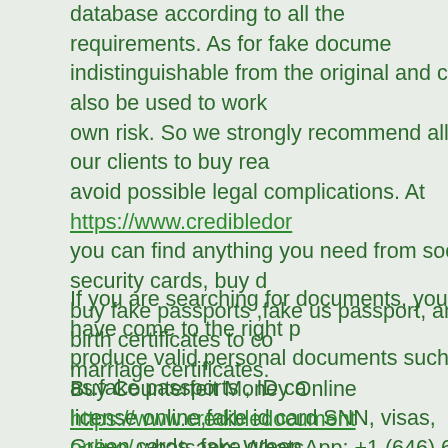database according to all the requirements. As for fake documents, they are indistinguishable from the original and can also be used to work, but at your own risk. So we strongly recommend all of our clients to buy real documents to avoid possible legal complications. At https://www.credibledoc you can find anything you need from social security cards, buy diplomas online, buy fake passports ,fake us passport, and birth certificates to college diplomas, marriage certificates.
If you are searching for documents, you have come to the right place. We produce valid personal documents such as:fake passports , ID cards, fake driver license online,fake id card SNN, visas, Green cards, fake green cards, GRE, GMAT, MCAT, LSAT, transcripts, diplomas, degrees, marriage and divorce certificate and death certificates, bank statements, resident permits, social security student cards, adoption certificates, baptism certificates and many more.
Buy Counterfeit Money Online https://www.credibledocumentsonline/ whatsapp: WhatsApp: +1 (646) 655-8021